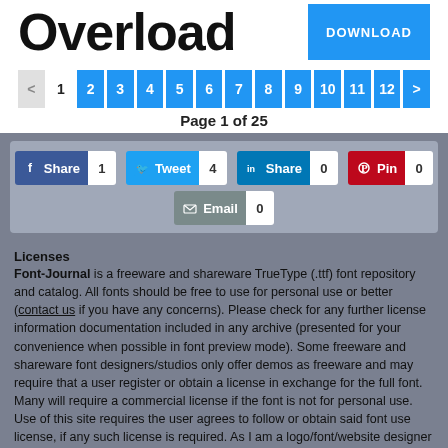Overload
DOWNLOAD
< 1 2 3 4 5 6 7 8 9 10 11 12 >
Page 1 of 25
[Figure (infographic): Social share buttons: Facebook Share (1), Twitter Tweet (4), LinkedIn Share (0), Pinterest Pin (0), Email (0)]
Licenses
Font-Journal is a freeware and shareware TrueType (.ttf) font repository and catalog. All fonts should be free to use for personal use or better (contact us if you have any concerns). Please check for any further license information documentation included in any archive (presented for your convenience when possible in font preview mode). Some freeware and shareware font designers/studios only offer demos as freeware and may require that a user register or obtain a license in exchange for the full font. Many will require a commercial license if the font is not for personal use. Use of this site requires the user agrees to follow or obtain said font use license, if any such license is required. As I am a logo/font/website designer and graphic artist myself, I am seeking out freeware TTF fonts and web fonts (#webfonts) that are available for commercial use as in logos, in headlines with easy typography or even